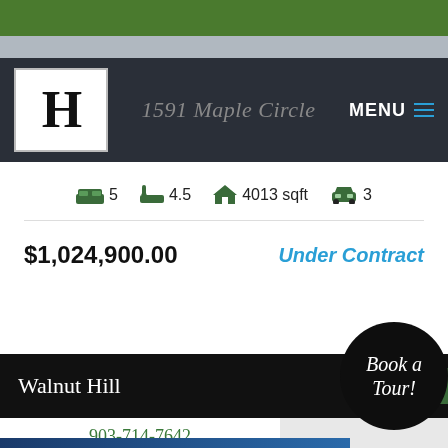[Figure (photo): Top strip showing green grass and gray pavement/road]
H | 1591 Maple Circle | MENU
5 beds  4.5 baths  4013 sqft  3 garage
$1,024,900.00    Under Contract
Walnut Hill   Brochure   Book a Tour!   903-714-7642